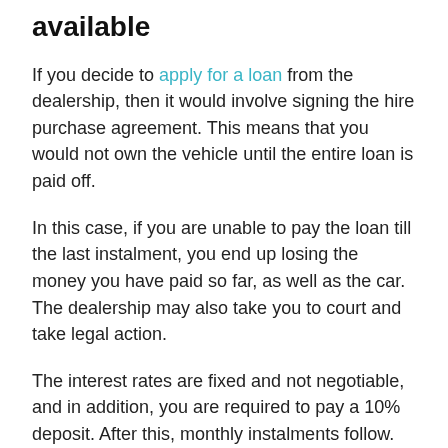available
If you decide to apply for a loan from the dealership, then it would involve signing the hire purchase agreement. This means that you would not own the vehicle until the entire loan is paid off.
In this case, if you are unable to pay the loan till the last instalment, you end up losing the money you have paid so far, as well as the car. The dealership may also take you to court and take legal action.
The interest rates are fixed and not negotiable, and in addition, you are required to pay a 10% deposit. After this, monthly instalments follow.
Another form of agreement is a Personal Contract Purchase, which is much more flexible. You must pay a deposit and